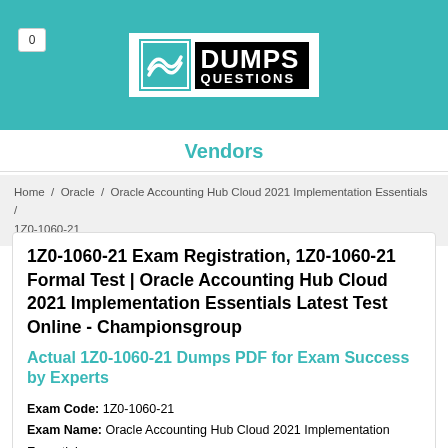[Figure (logo): DumpsQuestions logo with teal background header bar and cart badge showing 0]
Vendors
Home / Oracle / Oracle Accounting Hub Cloud 2021 Implementation Essentials / 1Z0-1060-21
1Z0-1060-21 Exam Registration, 1Z0-1060-21 Formal Test | Oracle Accounting Hub Cloud 2021 Implementation Essentials Latest Test Online - Championsgroup
Actual 1Z0-1060-21 Dumps PDF for Exam Success by Experts
Exam Code: 1Z0-1060-21
Exam Name: Oracle Accounting Hub Cloud 2021 Implementation Essentials
Certification Provider: Oracle